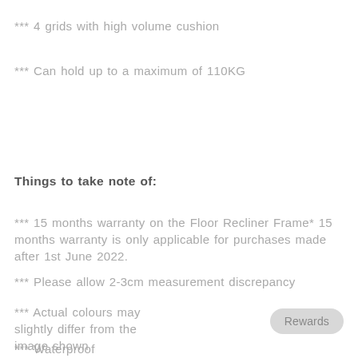*** 4 grids with high volume cushion
*** Can hold up to a maximum of 110KG
Things to take note of:
*** 15 months warranty on the Floor Recliner Frame* 15 months warranty is only applicable for purchases made after 1st June 2022.
*** Please allow 2-3cm measurement discrepancy
*** Actual colours may slightly differ from the image shown
*** Waterproof